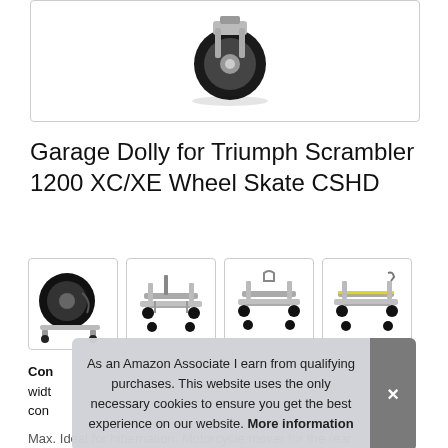[Figure (photo): Top portion of a garage dolly/wheel skate product showing a black rubber caster wheel and part of the metal frame, inside a white bordered box.]
Garage Dolly for Triumph Scrambler 1200 XC/XE Wheel Skate CSHD
[Figure (photo): Thumbnail 1: Motorcycle rear wheel on a garage dolly/wheel skate, showing tire close-up with the dolly underneath.]
[Figure (photo): Thumbnail 2: Garage dolly/wheel skate product isolated on white background, showing full frame with casters.]
[Figure (photo): Thumbnail 3: Garage dolly/wheel skate product isolated on white background, slightly different angle.]
[Figure (photo): Thumbnail 4: Garage dolly/wheel skate product isolated on white background at another angle, with yellow accent stripe visible.]
Con width con
As an Amazon Associate I earn from qualifying purchases. This website uses the only necessary cookies to ensure you get the best experience on our website. More information
Max. Ideal for hibernation. Motorcycle mover for the rear